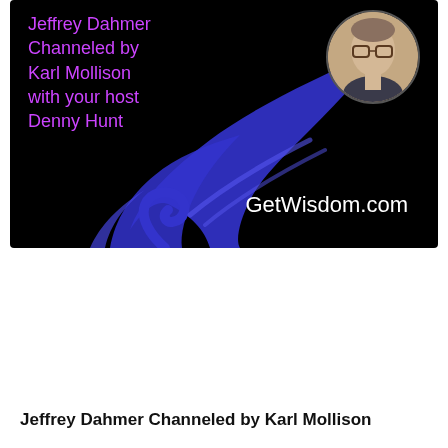[Figure (screenshot): Video thumbnail with black background, purple wing logo, GetWisdom.com text in white, magenta/purple text reading 'Jeffrey Dahmer Channeled by Karl Mollison with your host Denny Hunt', and a circular portrait photo of a man with glasses in the top right corner.]
This Video Requires a FREE Participant Membership or Higher
LOGIN
REGISTER
Jeffrey Dahmer Channeled by Karl Mollison